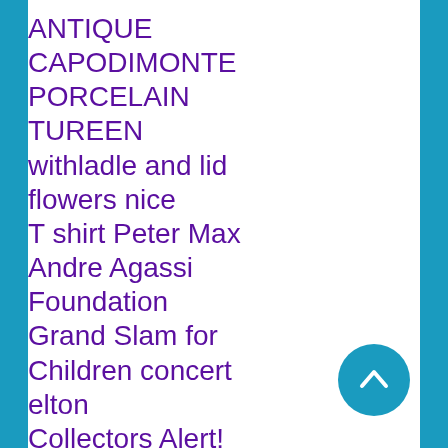ANTIQUE CAPODIMONTE PORCELAIN TUREEN withladle and lid flowers nice T shirt Peter Max Andre Agassi Foundation Grand Slam for Children concert elton Collectors Alert! No Reserveantique 1903 Dr's Gladstone Bagrarehandmade NIRVANA Vestibule Circles Of Hell Vintage